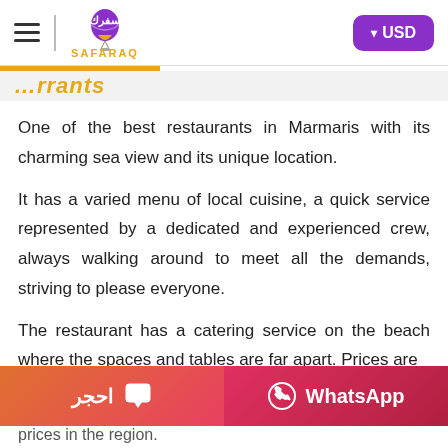SAFARAQ - USD currency selector header
...rrants (partial, cropped title visible)
One of the best restaurants in Marmaris with its charming sea view and its unique location.
It has a varied menu of local cuisine, a quick service represented by a dedicated and experienced crew, always walking around to meet all the demands, striving to please everyone.
The restaurant has a catering service on the beach where the spaces and tables are far apart. Prices are
prices in the region.